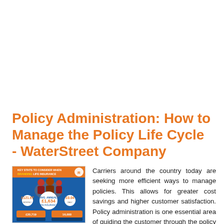Policy Administration: How to Manage the Policy Life Cycle - WaterStreet Company
[Figure (infographic): Insurance infographic with orange and blue design showing life insurance branding stats including £1,634 figure and other insurance policy data points. People shown in background.]
Carriers around the country today are seeking more efficient ways to manage policies. This allows for greater cost savings and higher customer satisfaction. Policy administration is one essential area of guiding the customer through the policy process, ending with a binding